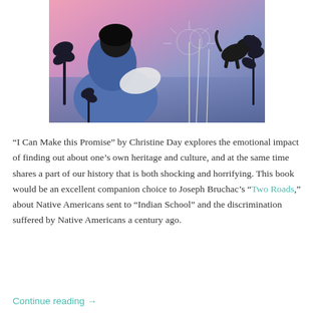[Figure (illustration): Illustrated painting of a person in blue clothing sitting among dark botanical plants, holding something white, with a black dog in the background against a pink and purple sunset sky with dandelion-like flowers.]
“I Can Make this Promise” by Christine Day explores the emotional impact of finding out about one’s own heritage and culture, and at the same time shares a part of our history that is both shocking and horrifying. This book would be an excellent companion choice to Joseph Bruchac’s “Two Roads,” about Native Americans sent to “Indian School” and the discrimination suffered by Native Americans a century ago.
Continue reading →